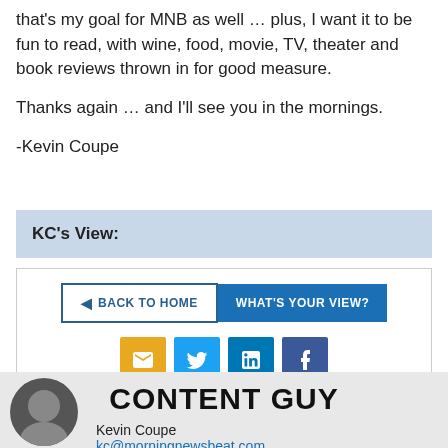that's my goal for MNB as well … plus, I want it to be fun to read, with wine, food, movie, TV, theater and book reviews thrown in for good measure.

Thanks again … and I'll see you in the mornings.

-Kevin Coupe
KC's View:
[Figure (infographic): Navigation buttons: 'Back to Home' (outlined blue) and 'What's Your View?' (filled blue), plus social sharing icons for email (orange), Twitter (blue), LinkedIn (blue), Facebook (dark blue)]
CONTENT GUY
Kevin Coupe
kc@morningnewsbeat.com